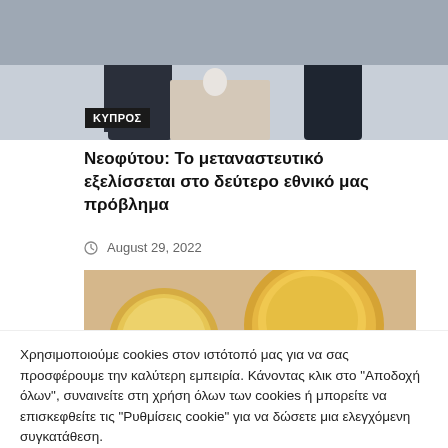[Figure (photo): Two men in suits seated and talking, appearing to be in a formal meeting setting]
ΚΥΠΡΟΣ
Νεοφύτου: Το μεταναστευτικό εξελίσσεται στο δεύτερο εθνικό μας πρόβλημα
August 29, 2022
[Figure (photo): Close-up photo of coins on a surface, golden/warm toned]
Χρησιμοποιούμε cookies στον ιστότοπό μας για να σας προσφέρουμε την καλύτερη εμπειρία. Κάνοντας κλικ στο "Αποδοχή όλων", συναινείτε στη χρήση όλων των cookies ή μπορείτε να επισκεφθείτε τις "Ρυθμίσεις cookie" για να δώσετε μια ελεγχόμενη συγκατάθεση.
Ρυθμίσεις
Αποδοχή όλων